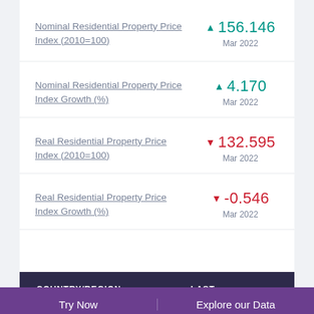Nominal Residential Property Price Index (2010=100) ▲ 156.146 Mar 2022
Nominal Residential Property Price Index Growth (%) ▲ 4.170 Mar 2022
Real Residential Property Price Index (2010=100) ▼ 132.595 Mar 2022
Real Residential Property Price Index Growth (%) ▼ -0.546 Mar 2022
| COUNTRY/REGION | LAST |
| --- | --- |
Try Now   Explore our Data